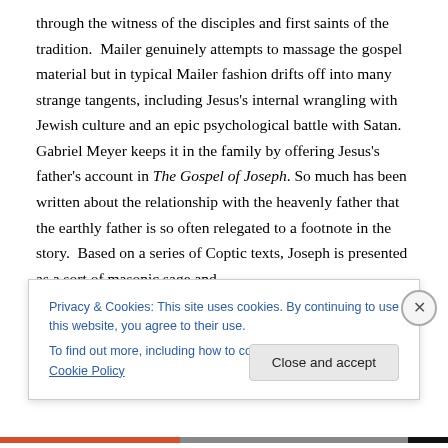through the witness of the disciples and first saints of the tradition.  Mailer genuinely attempts to massage the gospel material but in typical Mailer fashion drifts off into many strange tangents, including Jesus's internal wrangling with Jewish culture and an epic psychological battle with Satan.  Gabriel Meyer keeps it in the family by offering Jesus's father's account in The Gospel of Joseph.  So much has been written about the relationship with the heavenly father that the earthly father is so often relegated to a footnote in the story.  Based on a series of Coptic texts, Joseph is presented as a sort of masonic sage and
Privacy & Cookies: This site uses cookies. By continuing to use this website, you agree to their use.
To find out more, including how to control cookies, see here: Cookie Policy